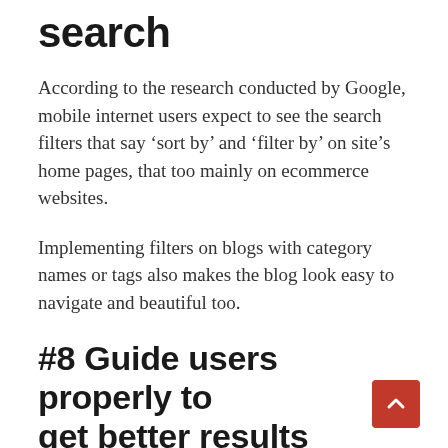search
According to the research conducted by Google, mobile internet users expect to see the search filters that say ‘sort by’ and ‘filter by’ on site’s home pages, that too mainly on ecommerce websites.
Implementing filters on blogs with category names or tags also makes the blog look easy to navigate and beautiful too.
#8 Guide users properly to get better results